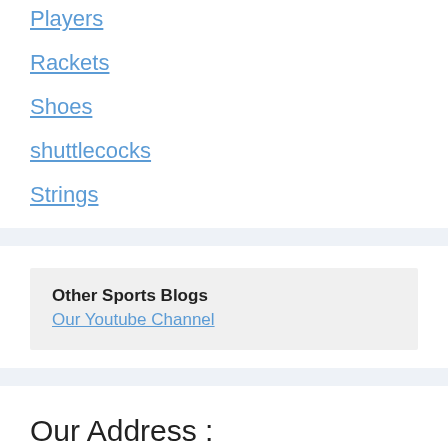Players
Rackets
Shoes
shuttlecocks
Strings
Other Sports Blogs
Our Youtube Channel
Our Address :